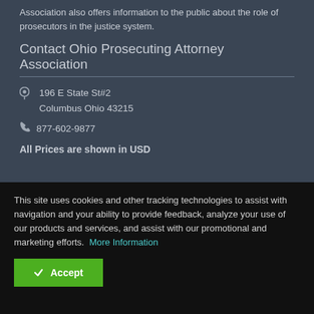Association also offers information to the public about the role of prosecutors in the justice system.
Contact Ohio Prosecuting Attorney Association
196 E State St#2
Columbus Ohio 43215
877-602-9877
All Prices are shown in USD
Support Home | Support for Credit : (614) 221-1266 | Technical Support: 877-602-9877 | Support for Credit: steve@ohiopa.org | Technical Support: opaa-
This site uses cookies and other tracking technologies to assist with navigation and your ability to provide feedback, analyze your use of our products and services, and assist with our promotional and marketing efforts. More Information
Accept